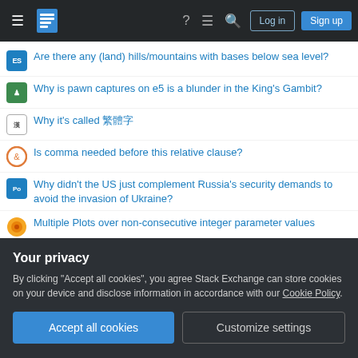Stack Exchange navigation bar with hamburger menu, logo, help, chat, search icons, Log in and Sign up buttons
Are there any (land) hills/mountains with bases below sea level?
Why is pawn captures on e5 is a blunder in the King's Gambit?
Why it's called 繁體字
Is comma needed before this relative clause?
Why didn't the US just complement Russia's security demands to avoid the invasion of Ukraine?
Multiple Plots over non-consecutive integer parameter values
Why do cordless tool batteries have a circuit board connected?
Can I ask ATC a radio check with a handheld radio?
Does any international law support the claim that "Taiwan...
Your privacy
By clicking "Accept all cookies", you agree Stack Exchange can store cookies on your device and disclose information in accordance with our Cookie Policy.
Accept all cookies   Customize settings
Meaning of...